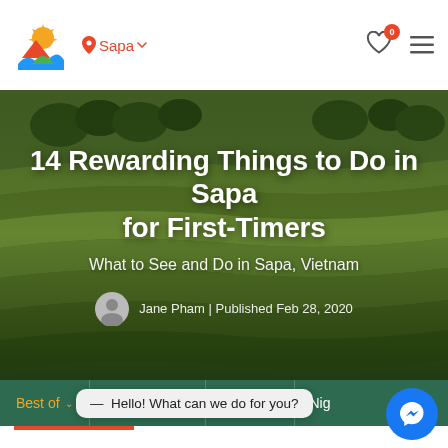Sapa
[Figure (photo): Aerial view of green rice terraces in Sapa, Vietnam]
14 Rewarding Things to Do in Sapa for First-Timers
What to See and Do in Sapa, Vietnam
Jane Pham | Published Feb 28, 2020
Best of   Attractions   Eating   Nig
Lo Hello! What can we do for you? west region of Vietnam, Sapa is a small town but offers plenty of interesting things to do and places to see.